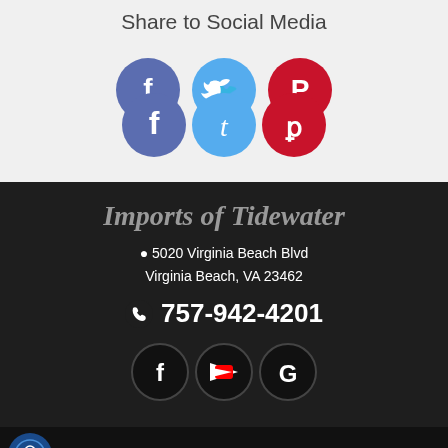Share to Social Media
[Figure (infographic): Three social media icon circles: Facebook (blue-purple), Twitter (light blue), Pinterest (red)]
Imports of Tidewater
5020 Virginia Beach Blvd Virginia Beach, VA 23462
757-942-4201
[Figure (infographic): Three social icon circles on black background: Facebook, YouTube, Google]
Dealer Car Search Login | Copyright 2022 | Sitemap
Text Us